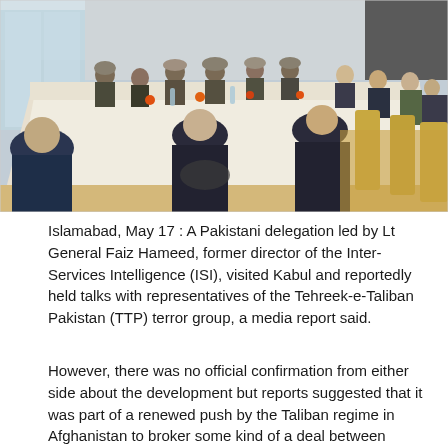[Figure (photo): A formal meeting room scene showing two groups of people seated on opposite sides of a long conference table covered with a white tablecloth. One side appears to include Taliban representatives wearing traditional attire, the other side includes suited officials. The room has large windows with natural light, wooden flooring, and orange flower centerpieces on the table.]
Islamabad, May 17 : A Pakistani delegation led by Lt General Faiz Hameed, former director of the Inter-Services Intelligence (ISI), visited Kabul and reportedly held talks with representatives of the Tehreek-e-Taliban Pakistan (TTP) terror group, a media report said.
However, there was no official confirmation from either side about the development but reports suggested that it was part of a renewed push by the Taliban regime in Afghanistan to broker some kind of a deal between Pakistan and the TTP, The Express Tribune report said.